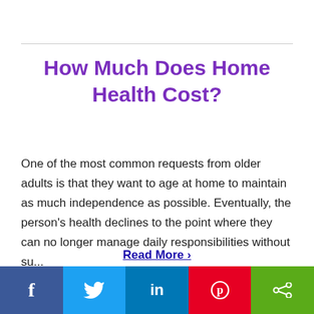How Much Does Home Health Cost?
One of the most common requests from older adults is that they want to age at home to maintain as much independence as possible. Eventually, the person's health declines to the point where they can no longer manage daily responsibilities without su...
Read More ›
By Becki Andrus | January 20, 2022